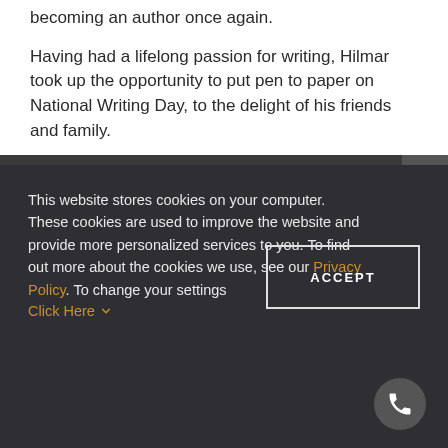becoming an author once again.
Having had a lifelong passion for writing, Hilmar took up the opportunity to put pen to paper on National Writing Day, to the delight of his friends and family.
This website stores cookies on your computer. These cookies are used to improve the website and provide more personalized services to you. To find out more about the cookies we use, see our Privacy Policy. To change your settings Click Here
ACCEPT